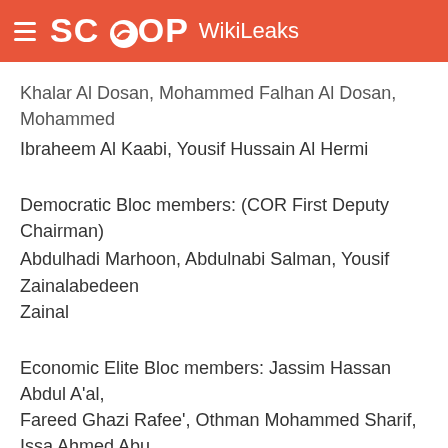SCOOP WikiLeaks
Khalar Al Dosan, Mohammed Falhan Al Dosan, Mohammed
Ibraheem Al Kaabi, Yousif Hussain Al Hermi
Democratic Bloc members: (COR First Deputy Chairman)
Abdulhadi Marhoon, Abdulnabi Salman, Yousif Zainalabedeen
Zainal
Economic Elite Bloc members: Jassim Hassan Abdul A'al,
Fareed Ghazi Rafee', Othman Mohammed Sharif, Issa Ahmed Abu